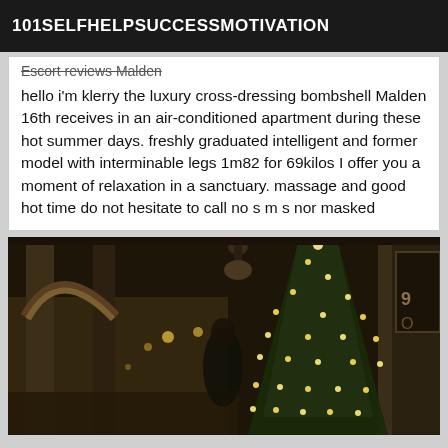101SELFHELPSUCCESSMOTIVATION
Escort reviews Malden
hello i'm klerry the luxury cross-dressing bombshell Malden 16th receives in an air-conditioned apartment during these hot summer days. freshly graduated intelligent and former model with interminable legs 1m82 for 69kilos I offer you a moment of relaxation in a sanctuary. massage and good hot time do not hesitate to call no s m s nor masked
[Figure (photo): A woman standing in a European-looking street at night with a Christmas tree decorated with lights visible on the right side and an archway in the background on the left.]